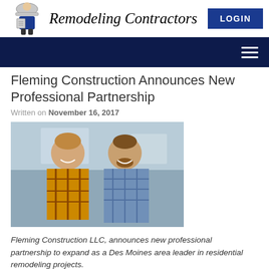Remodeling Contractors
[Figure (screenshot): Website navigation bar with dark navy background and hamburger menu icon]
Fleming Construction Announces New Professional Partnership
Written on November 16, 2017
[Figure (photo): Two men smiling and standing together indoors, one wearing a plaid shirt and one wearing a blue checked shirt]
Fleming Construction LLC, announces new professional partnership to expand as a Des Moines area leader in residential remodeling projects.